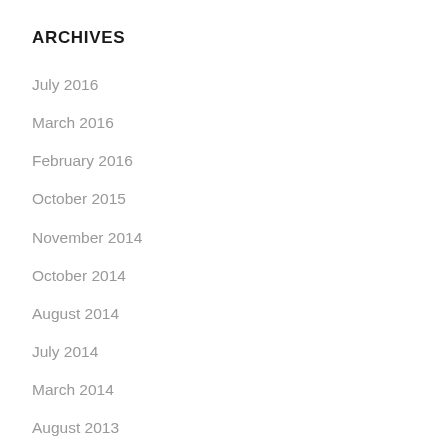ARCHIVES
July 2016
March 2016
February 2016
October 2015
November 2014
October 2014
August 2014
July 2014
March 2014
August 2013
April 2013